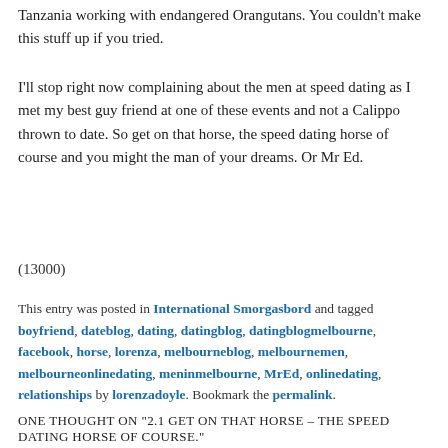Tanzania working with endangered Orangutans. You couldn't make this stuff up if you tried.
I'll stop right now complaining about the men at speed dating as I met my best guy friend at one of these events and not a Calippo thrown to date. So get on that horse, the speed dating horse of course and you might the man of your dreams. Or Mr Ed.
(13000)
This entry was posted in International Smorgasbord and tagged boyfriend, dateblog, dating, datingblog, datingblogmelbourne, facebook, horse, lorenza, melbourneblog, melbournemen, melbourneonlinedating, meninmelbourne, MrEd, onlinedating, relationships by lorenzadoyle. Bookmark the permalink.
ONE THOUGHT ON "2.1 GET ON THAT HORSE – THE SPEED DATING HORSE OF COURSE."